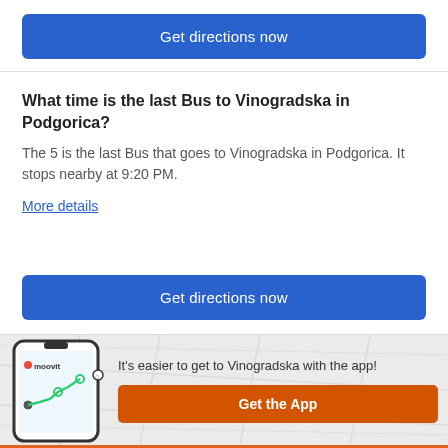Get directions now
What time is the last Bus to Vinogradska in Podgorica?
The 5 is the last Bus that goes to Vinogradska in Podgorica. It stops nearby at 9:20 PM.
More details
Get directions now
[Figure (screenshot): Moovit app promotion banner with phone mockup showing route map, Moovit logo, tagline and Get the App button]